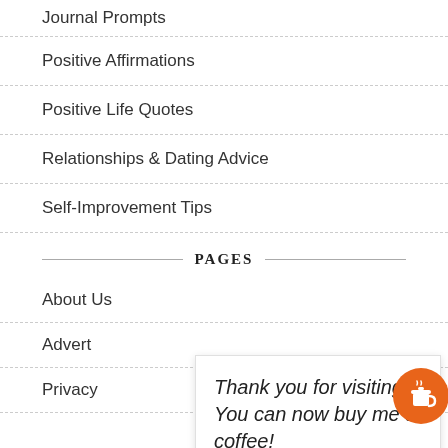Journal Prompts
Positive Affirmations
Positive Life Quotes
Relationships & Dating Advice
Self-Improvement Tips
PAGES
About Us
Advert
Privacy
Thank you for visiting. You can now buy me a coffee!